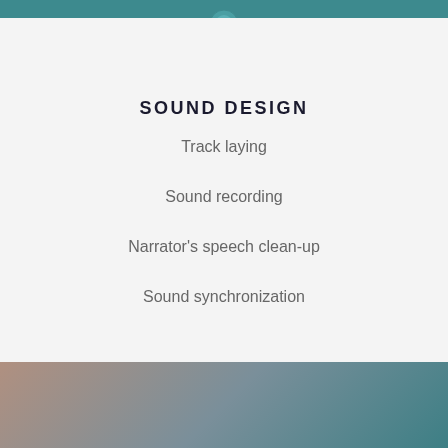[Figure (illustration): Teal header bar with a partially visible circular icon at the top center]
SOUND DESIGN
Track laying
Sound recording
Narrator's speech clean-up
Sound synchronization
[Figure (illustration): Bottom gradient panel blending from warm sandy-brown on the left to teal-blue on the right]